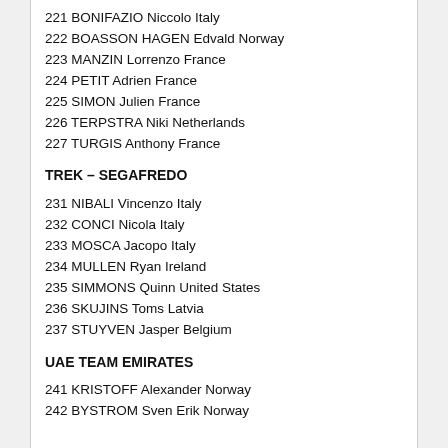221 BONIFAZIO Niccolo Italy
222 BOASSON HAGEN Edvald Norway
223 MANZIN Lorrenzo France
224 PETIT Adrien France
225 SIMON Julien France
226 TERPSTRA Niki Netherlands
227 TURGIS Anthony France
TREK – SEGAFREDO
231 NIBALI Vincenzo Italy
232 CONCI Nicola Italy
233 MOSCA Jacopo Italy
234 MULLEN Ryan Ireland
235 SIMMONS Quinn United States
236 SKUJINS Toms Latvia
237 STUYVEN Jasper Belgium
UAE TEAM EMIRATES
241 KRISTOFF Alexander Norway
242 BYSTROM Sven Erik Norway